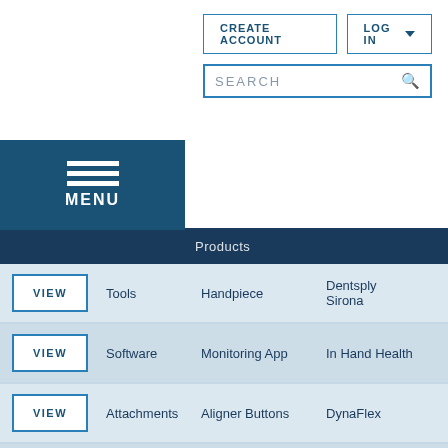[Figure (logo): JCO - Journal of Clinical Orthodontics logo, white on teal background]
CREATE ACCOUNT
LOG IN
SEARCH
MENU
Products
|  | Category | Type | Brand |
| --- | --- | --- | --- |
| VIEW | Tools | Handpiece | Dentsply Sirona |
| VIEW | Software | Monitoring App | In Hand Health |
| VIEW | Attachments | Aligner Buttons | DynaFlex |
| VIEW | Tools | Handpiece System | Medidenta |